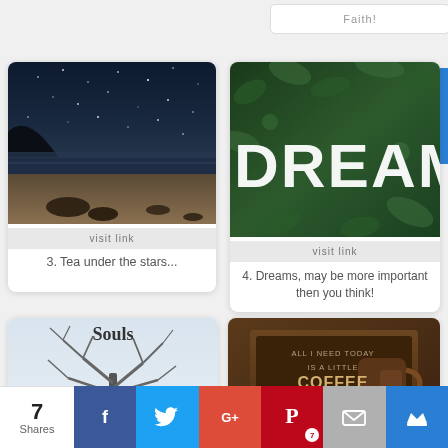Faith!
[Figure (photo): Nighttime beach scene with starry sky, waves, sand and rocks — card for 'Tea under the stars...']
visit link
3. Tea under the stars...
[Figure (photo): Green leaves with white DREAM letters on them — card for 'Dreams, may be more important then you think!']
visit link
4. Dreams, may be more important then you think!
[Figure (photo): Bare winter tree on snowy background with text 'Souls' — partial card]
[Figure (photo): Wooden sign with coffee mug and text: ALL I NEED TODAY IS A LITTLE COFFEE AND A WHOLE LOTTA JESUS — partial card]
7 Shares
f
Twitter bird icon
G+
Pinterest P — 7
Email icon
Crown icon